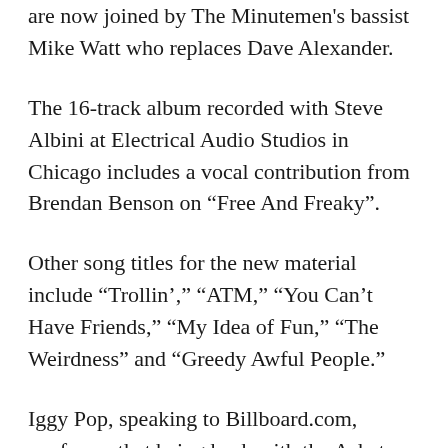are now joined by The Minutemen's bassist Mike Watt who replaces Dave Alexander.
The 16-track album recorded with Steve Albini at Electrical Audio Studios in Chicago includes a vocal contribution from Brendan Benson on “Free And Freaky”.
Other song titles for the new material include “Trollin’,” “ATM,” “You Can’t Have Friends,” “My Idea of Fun,” “The Weirdness” and “Greedy Awful People.”
Iggy Pop, speaking to Billboard.com, confesses that being back with the Asheton brothers did prove difficult at times.